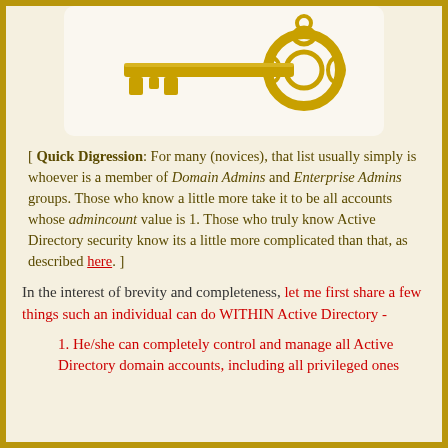[Figure (illustration): A golden ornate skeleton key on a light beige/cream background panel]
[ Quick Digression: For many (novices), that list usually simply is whoever is a member of Domain Admins and Enterprise Admins groups. Those who know a little more take it to be all accounts whose admincount value is 1. Those who truly know Active Directory security know its a little more complicated than that, as described here. ]
In the interest of brevity and completeness, let me first share a few things such an individual can do WITHIN Active Directory -
1. He/she can completely control and manage all Active Directory domain accounts, including all privileged ones